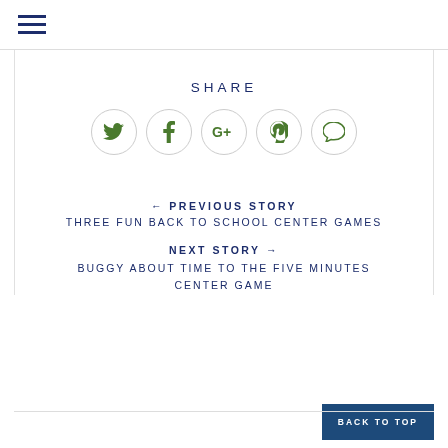SHARE
[Figure (other): Social share icons: Twitter, Facebook, Google+, Pinterest, Comment — each in a circular border]
← PREVIOUS STORY
THREE FUN BACK TO SCHOOL CENTER GAMES
NEXT STORY →
BUGGY ABOUT TIME TO THE FIVE MINUTES CENTER GAME
BACK TO TOP